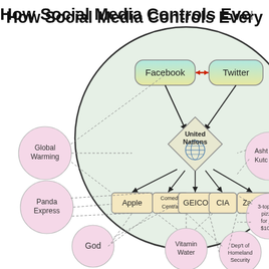How Social Media Controls Every...
[Figure (flowchart): Infographic flowchart showing how Social Media (Facebook and Twitter, connected by red double arrow) both point down to a United Nations diamond node, which then points down to Apple, Comedy Central, GEICO, CIA, Zabar's boxes. Outside a large pale green circle are pink oval nodes: Global Warming, Panda Express, God, Vitamin Water, Dep't of Homeland Security, 3-topping pizzas for just $10.99, Asht Kutc (Ashton Kutcher). All outer nodes connected to inner nodes by dashed lines.]